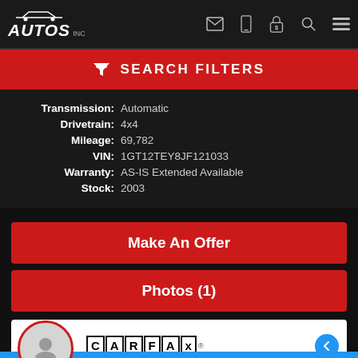AUTOS inc — nav bar with icons
SEARCH FILTERS
Transmission: Automatic
Drivetrain: 4x4
Mileage: 69,782
VIN: 1GT12TEY8JF121033
Warranty: AS-IS Extended Available
Stock: 2003
Make An Offer
Photos (1)
[Figure (logo): CARFAX Vehicle History Reports logo]
TEXT US! WE ARE HERE TO HELP!